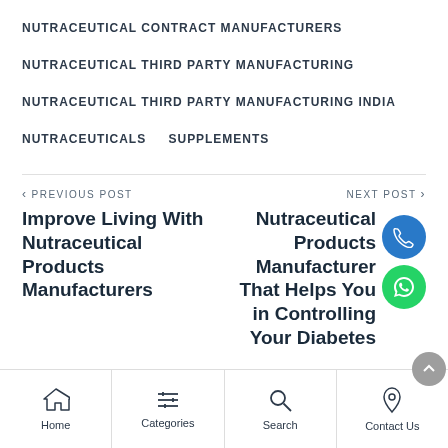NUTRACEUTICAL CONTRACT MANUFACTURERS
NUTRACEUTICAL THIRD PARTY MANUFACTURING
NUTRACEUTICAL THIRD PARTY MANUFACTURING INDIA
NUTRACEUTICALS   SUPPLEMENTS
< PREVIOUS POST
Improve Living With Nutraceutical Products Manufacturers
NEXT POST >
Nutraceutical Products Manufacturer That Helps You in Controlling Your Diabetes
Home   Categories   Search   Contact Us